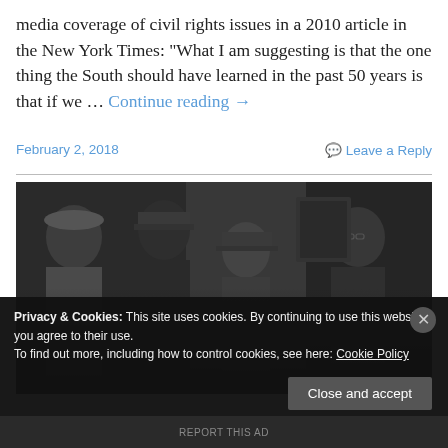media coverage of civil rights issues in a 2010 article in the New York Times: "What I am suggesting is that the one thing the South should have learned in the past 50 years is that if we … Continue reading →
February 2, 2018
Leave a Reply
[Figure (photo): Black and white photograph showing four men standing together, appearing to be from the mid-20th century civil rights era. The men are dressed in coats and hats.]
Privacy & Cookies: This site uses cookies. By continuing to use this website, you agree to their use. To find out more, including how to control cookies, see here: Cookie Policy
Close and accept